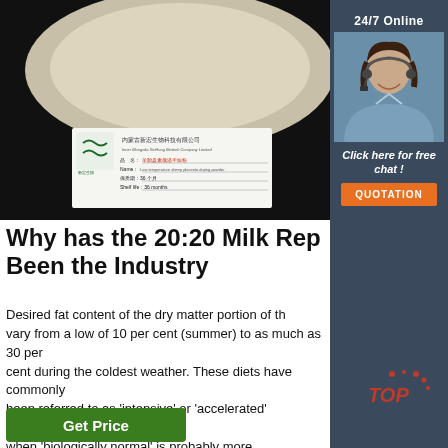[Figure (photo): Product photo showing white powder in a round dish on black background, with a label card from Inner Mongolia XinHong Biotech Company Limited showing Chinese text and shelf life of 36 months]
Why has the 20:20 Milk Rep Been the Industry
Desired fat content of the dry matter portion of the vary from a low of 10 per cent (summer) to as much as 30 per cent during the coldest weather. These diets have commonly been referred to as 'intensive' or 'accelerated' programmes when 'biologically normal' is probably more appropriate.
Get Price